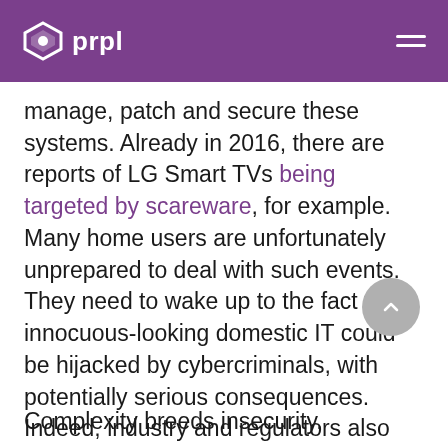prpl
manage, patch and secure these systems. Already in 2016, there are reports of LG Smart TVs being targeted by scareware, for example. Many home users are unfortunately unprepared to deal with such events. They need to wake up to the fact their innocuous-looking domestic IT could be hijacked by cybercriminals, with potentially serious consequences. Indeed, industry and regulators also need to take action – to force manufacturers to improve the security of embedded computing products.
Complexity breeds insecurity.